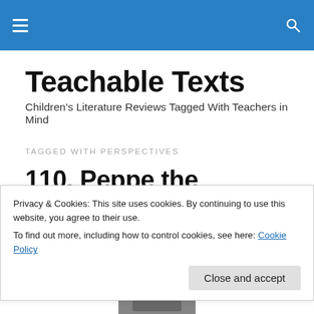☰  🔍
Teachable Texts
Children's Literature Reviews Tagged With Teachers in Mind
TAGGED WITH PERSPECTIVES
110. Peppe the Lamplighter by Elisa Bartone
Privacy & Cookies: This site uses cookies. By continuing to use this website, you agree to their use.
To find out more, including how to control cookies, see here: Cookie Policy
Close and accept
[Figure (photo): Thumbnail image of book cover at bottom of page]